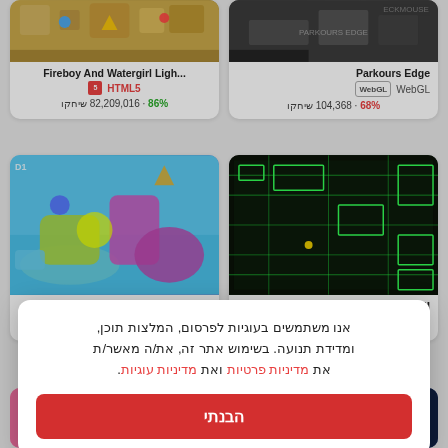[Figure (screenshot): Fireboy And Watergirl Light game thumbnail - top-down puzzle game screenshot]
Fireboy And Watergirl Ligh...
HTML5
86% · 82,209,016 שיחקו
[Figure (screenshot): Parkours Edge game thumbnail - dark parkour game screenshot]
Parkours Edge
WebGL
68% · 104,368 שיחקו
[Figure (screenshot): Fall Guys and Girls game thumbnail - colorful 3D obstacle course game]
Fall Guys and Girls
WebGL
[Figure (screenshot): Labyrneath II game thumbnail - dark green neon labyrinth game]
Labyrneath II
HTML5
אנו משתמשים בעוגיות לפרסום, המלצות תוכן, ומדידת תנועה. בשימוש אתר זה, את/ה מאשר/ת את מדיניות פרטיות ואת מדיניות עוגיות.
הבנתי